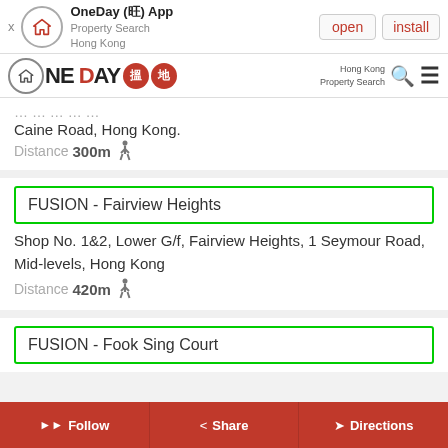[Figure (screenshot): App install banner for OneDay (旺) App - Property Search Hong Kong with open and install buttons]
[Figure (logo): OneDay 搵地 logo with Hong Kong Property Search navigation bar]
Caine Road, Hong Kong.
Distance 300m 🚶
FUSION - Fairview Heights
Shop No. 1&2, Lower G/f, Fairview Heights, 1 Seymour Road, Mid-levels, Hong Kong
Distance 420m 🚶
FUSION - Fook Sing Court
Follow  Share  Directions